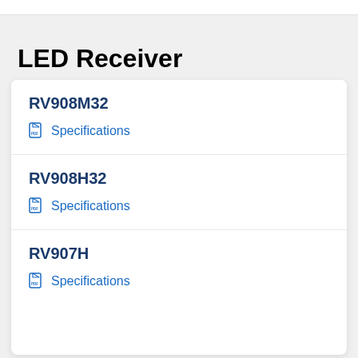LED Receiver
RV908M32
Specifications
RV908H32
Specifications
RV907H
Specifications